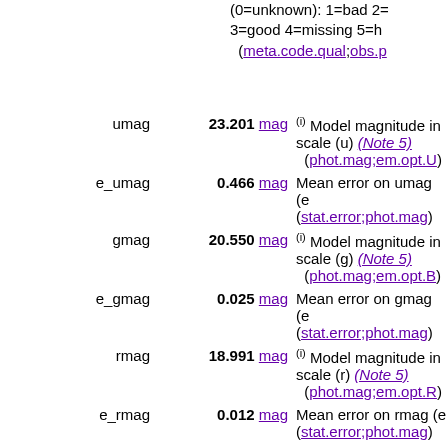(0=unknown): 1=bad 2=no_value 3=good 4=missing 5=h... (meta.code.qual;obs.p...)
| Name | Value | Description |
| --- | --- | --- |
| umag | 23.201 mag | (i) Model magnitude in... scale (u) (Note 5) (phot.mag;em.opt.U) |
| e_umag | 0.466 mag | Mean error on umag (e... (stat.error;phot.mag) |
| gmag | 20.550 mag | (i) Model magnitude in... scale (g) (Note 5) (phot.mag;em.opt.B) |
| e_gmag | 0.025 mag | Mean error on gmag (e... (stat.error;phot.mag) |
| rmag | 18.991 mag | (i) Model magnitude in... scale (r) (Note 5) (phot.mag;em.opt.R) |
| e_rmag | 0.012 mag | Mean error on rmag (e... (stat.error;phot.mag) |
| imag | 18.002 mag | (i) Model magnitude in... scale (i) (Note 5) (phot.mag;em.opt.I) |
| e_imag | 0.009 mag | Mean error on imag (e... (stat.error;phot.mag) |